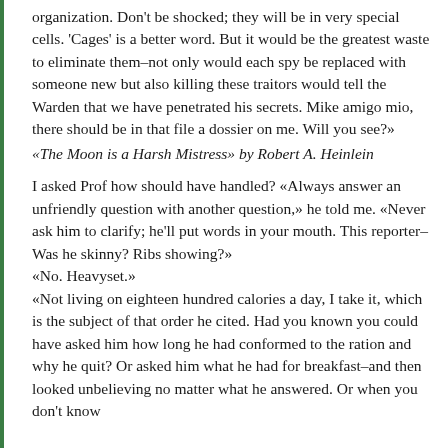organization. Don't be shocked; they will be in very special cells. 'Cages' is a better word. But it would be the greatest waste to eliminate them–not only would each spy be replaced with someone new but also killing these traitors would tell the Warden that we have penetrated his secrets. Mike amigo mio, there should be in that file a dossier on me. Will you see?»
«The Moon is a Harsh Mistress» by Robert A. Heinlein
I asked Prof how should have handled? «Always answer an unfriendly question with another question,» he told me. «Never ask him to clarify; he'll put words in your mouth. This reporter– Was he skinny? Ribs showing?»
«No. Heavyset.»
«Not living on eighteen hundred calories a day, I take it, which is the subject of that order he cited. Had you known you could have asked him how long he had conformed to the ration and why he quit? Or asked him what he had for breakfast–and then looked unbelieving no matter what he answered. Or when you don't know